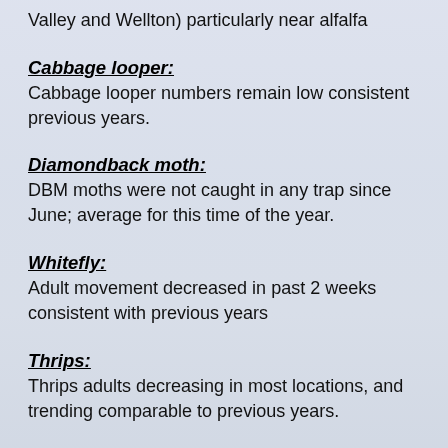Valley and Wellton) particularly near alfalfa
Cabbage looper:
Cabbage looper numbers remain low consistent previous years.
Diamondback moth:
DBM moths were not caught in any trap since June; average for this time of the year.
Whitefly:
Adult movement decreased in past 2 weeks consistent with previous years
Thrips:
Thrips adults decreasing in most locations, and trending comparable to previous years.
Aphids: